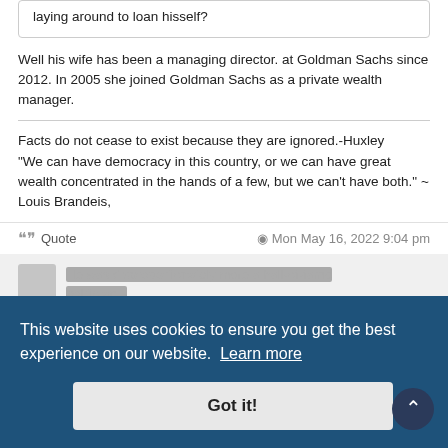laying around to loan hisself?
Well his wife has been a managing director. at Goldman Sachs since 2012. In 2005 she joined Goldman Sachs as a private wealth manager.
Facts do not cease to exist because they are ignored.-Huxley "We can have democracy in this country, or we can have great wealth concentrated in the hands of a few, but we can't have both." ~ Louis Brandeis,
Quote   Mon May 16, 2022 9:04 pm
This website uses cookies to ensure you get the best experience on our website. Learn more
Got it!
by highdesert
# 5